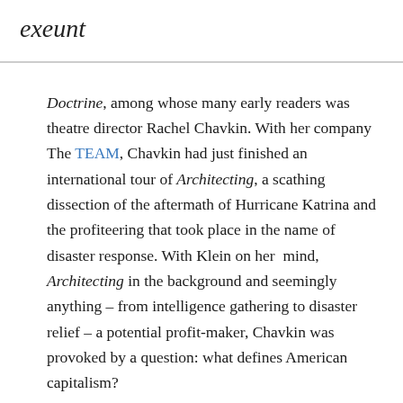exeunt
Doctrine, among whose many early readers was theatre director Rachel Chavkin. With her company The TEAM, Chavkin had just finished an international tour of Architecting, a scathing dissection of the aftermath of Hurricane Katrina and the profiteering that took place in the name of disaster response. With Klein on her mind, Architecting in the background and seemingly anything – from intelligence gathering to disaster relief – a potential profit-maker, Chavkin was provoked by a question: what defines American capitalism?